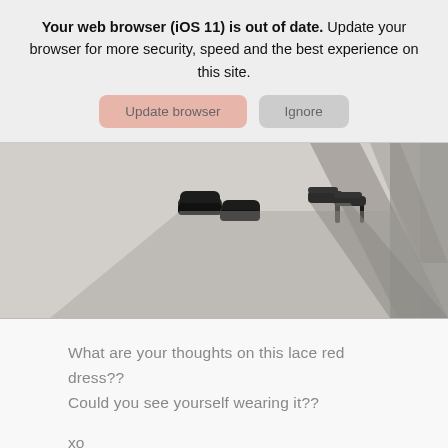Your web browser (iOS 11) is out of date. Update your browser for more security, speed and the best experience on this site.
[Figure (photo): Close-up photo of legs and feet on pavement — one person wearing dark dress shoes, another wearing high-heeled sandals, with long shadows cast on concrete ground.]
What are your thoughts on this lace red dress?? Could you see yourself wearing it??
xo
Jilly